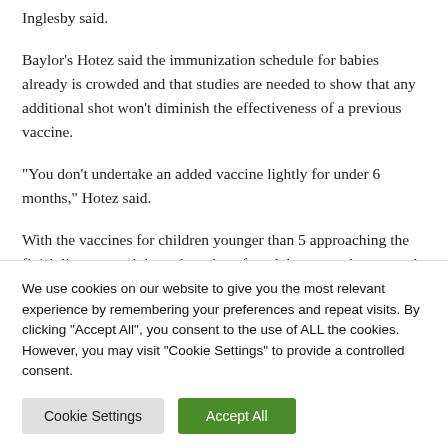Inglesby said.
Baylor's Hotez said the immunization schedule for babies already is crowded and that studies are needed to show that any additional shot won't diminish the effectiveness of a previous vaccine.
“You don’t undertake an added vaccine lightly for under 6 months,” Hotez said.
With the vaccines for children younger than 5 approaching the finish line so much later than shots for adults, some doctors and
We use cookies on our website to give you the most relevant experience by remembering your preferences and repeat visits. By clicking “Accept All”, you consent to the use of ALL the cookies. However, you may visit "Cookie Settings" to provide a controlled consent.